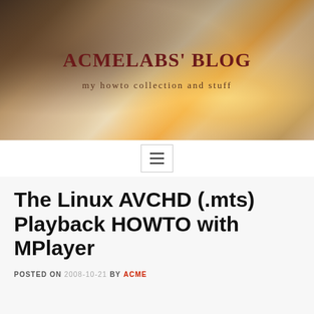[Figure (photo): Misty landscape background image with warm golden sunlight flare, trees silhouetted in dark tones on the left]
ACMELABS' BLOG
my howto collection and stuff
[Figure (infographic): Navigation bar with hamburger menu icon (three horizontal lines)]
The Linux AVCHD (.mts) Playback HOWTO with MPlayer
POSTED ON 2008-10-21 BY ACME